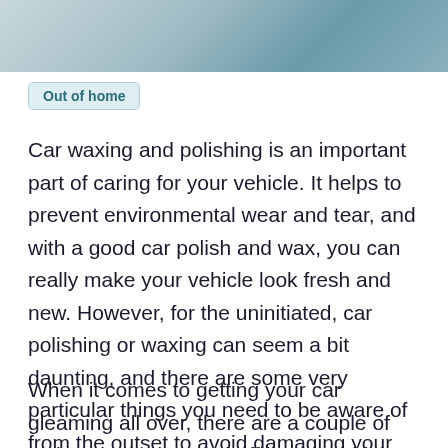[Figure (photo): Partial photo of a car or automotive surface, light blue-grey tones, cropped at top of page]
Out of home
Car waxing and polishing is an important part of caring for your vehicle. It helps to prevent environmental wear and tear, and with a good car polish and wax, you can really make your vehicle look fresh and new. However, for the uninitiated, car polishing or waxing can seem a bit daunting, and there are some very particular things you need to be aware of from the outset to avoid damaging your paintwork. Read on for helpful car care tips!
When it comes to getting your car gleaming all over, there are a couple of tricks you can use to buff it up to a high shine. Get utterly streak-free windows by